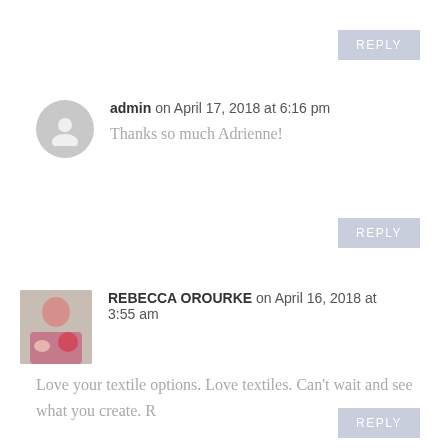REPLY
admin on April 17, 2018 at 6:16 pm
Thanks so much Adrienne!
REPLY
REBECCA OROURKE on April 16, 2018 at 3:55 am
Love your textile options. Love textiles. Can't wait and see what you create. R
REPLY